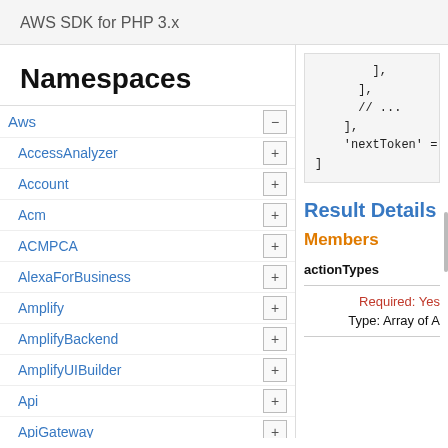AWS SDK for PHP 3.x
Namespaces
Aws
AccessAnalyzer
Account
Acm
ACMPCA
AlexaForBusiness
Amplify
AmplifyBackend
AmplifyUIBuilder
Api
ApiGateway
ApiGatewayManagementApi
[Figure (screenshot): Code block showing PHP array syntax with ], ], // ..., ], 'nextToken' =, ]]
Result Details
Members
actionTypes
Required: Yes
Type: Array of A